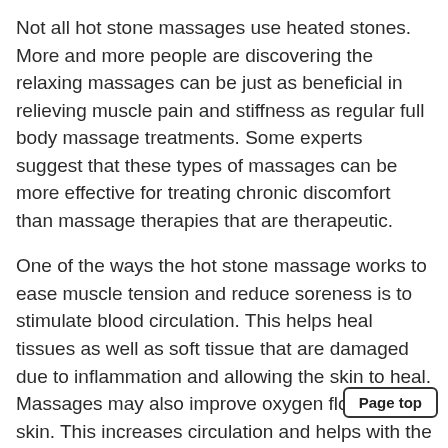Not all hot stone massages use heated stones. More and more people are discovering the relaxing massages can be just as beneficial in relieving muscle pain and stiffness as regular full body massage treatments. Some experts suggest that these types of massages can be more effective for treating chronic discomfort than massage therapies that are therapeutic.
One of the ways the hot stone massage works to ease muscle tension and reduce soreness is to stimulate blood circulation. This helps heal tissues as well as soft tissue that are damaged due to inflammation and allowing the skin to heal. Massages may also improve oxygen flow to the skin. This increases circulation and helps with the growth of the cells that make up your skin. The improved circulation decreases the appearanc[...] and swelling that is caused by damaged tissues. This